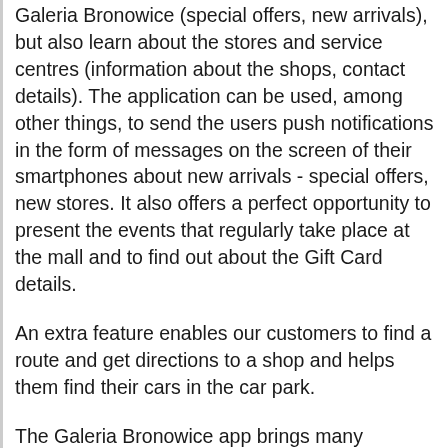Galeria Bronowice (special offers, new arrivals), but also learn about the stores and service centres (information about the shops, contact details). The application can be used, among other things, to send the users push notifications in the form of messages on the screen of their smartphones about new arrivals - special offers, new stores. It also offers a perfect opportunity to present the events that regularly take place at the mall and to find out about the Gift Card details.
An extra feature enables our customers to find a route and get directions to a shop and helps them find their cars in the car park.
The Galeria Bronowice app brings many conveniences that will allow you to shop even easier, more pleasant and, most importantly, cheaper! All this thanks to the Benefits Zone